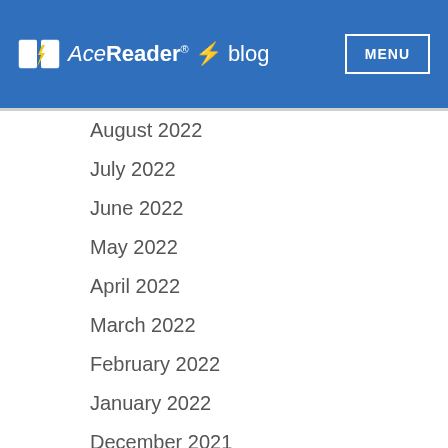AceReader® ⚡ blog | MENU
August 2022
July 2022
June 2022
May 2022
April 2022
March 2022
February 2022
January 2022
December 2021
November 2021
October 2021
September 2021
August 2021
July 2021